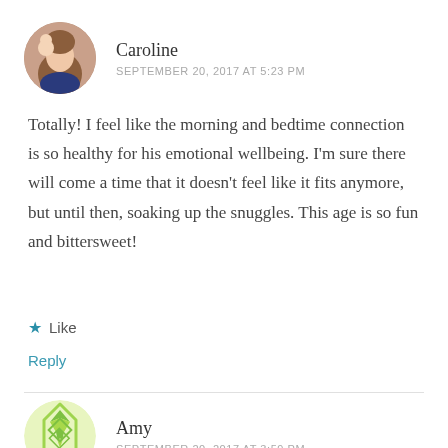[Figure (photo): Circular avatar photo of Caroline, a woman holding a baby]
Caroline
SEPTEMBER 20, 2017 AT 5:23 PM
Totally! I feel like the morning and bedtime connection is so healthy for his emotional wellbeing. I'm sure there will come a time that it doesn't feel like it fits anymore, but until then, soaking up the snuggles. This age is so fun and bittersweet!
★ Like
Reply
[Figure (illustration): Circular avatar with green geometric pattern for Amy]
Amy
SEPTEMBER 20, 2017 AT 3:59 PM